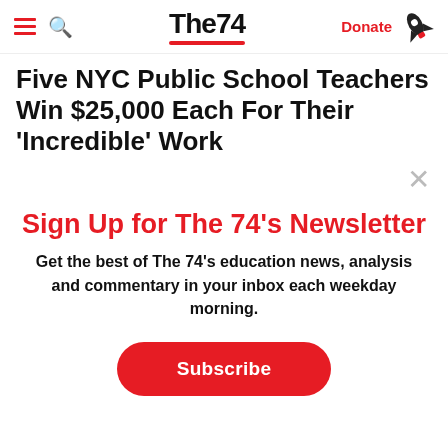The74 | Donate
Five NYC Public School Teachers Win $25,000 Each For Their 'Incredible' Work
[Figure (photo): Partially visible image with pink/purple gradient banner]
Sign Up for The 74's Newsletter
Get the best of The 74's education news, analysis and commentary in your inbox each weekday morning.
Subscribe